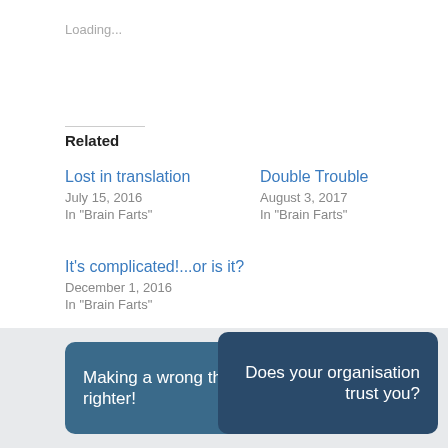Loading...
Related
Lost in translation
July 15, 2016
In "Brain Farts"
Double Trouble
August 3, 2017
In "Brain Farts"
It's complicated!...or is it?
December 1, 2016
In "Brain Farts"
Making a wrong thing righter!
Does your organisation trust you?